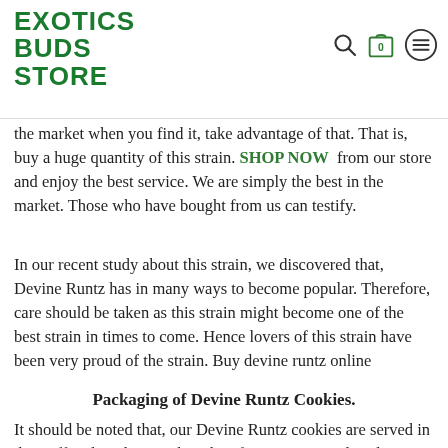EXOTICS BUDS STORE
the market when you find it, take advantage of that. That is, buy a huge quantity of this strain. SHOP NOW from our store and enjoy the best service. We are simply the best in the market. Those who have bought from us can testify.
In our recent study about this strain, we discovered that, Devine Runtz has in many ways to become popular. Therefore, care should be taken as this strain might become one of the best strain in times to come. Hence lovers of this strain have been very proud of the strain. Buy devine runtz online
Packaging of Devine Runtz Cookies.
It should be noted that, our Devine Runtz cookies are served in their official cookies packs. Therefore, once you placed